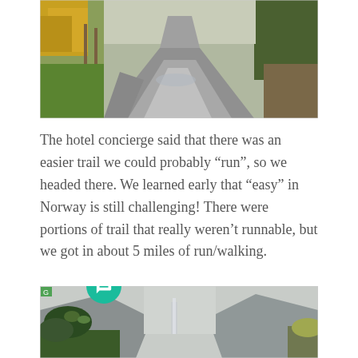[Figure (photo): A wet rural road intersection in Norway with green grass and autumn foliage on either side, viewed on a rainy day.]
The hotel concierge said that there was an easier trail we could probably “run”, so we headed there. We learned early that “easy” in Norway is still challenging! There were portions of trail that really weren’t runnable, but we got in about 5 miles of run/walking.
[Figure (photo): A view of a narrow fjord or valley with misty grey mountains on either side and trees in the foreground.]